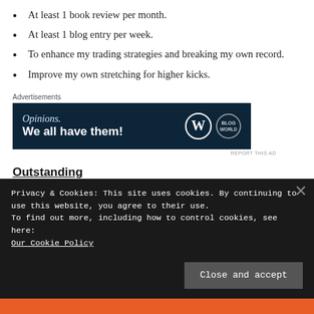At least 1 book review per month.
At least 1 blog entry per week.
To enhance my trading strategies and breaking my own record.
Improve my own stretching for higher kicks.
[Figure (other): WordPress advertisement banner: 'Opinions. We all have them!' with WordPress and BeBold logos on dark navy background]
Outstanding
Personal fitness
Privacy & Cookies: This site uses cookies. By continuing to use this website, you agree to their use. To find out more, including how to control cookies, see here: Our Cookie Policy
Close and accept